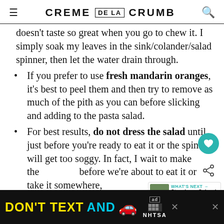CREME DE LA CRUMB
doesn't taste so great when you go to chew it. I simply soak my leaves in the sink/colander/salad spinner, then let the water drain through.
If you prefer to use fresh mandarin oranges, it's best to peel them and then try to remove as much of the pith as you can before slicking and adding to the pasta salad.
For best results, do not dress the salad until just before you're ready to eat it or the spinach will get too soggy. In fact, I wait to make the dressing before we're about to eat it or take it somewhere,
[Figure (screenshot): Advertisement banner: DON'T TEXT AND with red car emoji and NHTSA logo on black background]